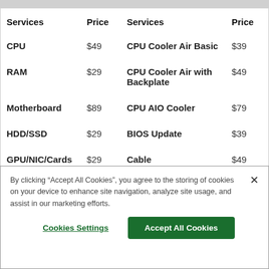| Services | Price | Services | Price |
| --- | --- | --- | --- |
| CPU | $49 | CPU Cooler Air Basic | $39 |
| RAM | $29 | CPU Cooler Air with Backplate | $49 |
| Motherboard | $89 | CPU AIO Cooler | $79 |
| HDD/SSD | $29 | BIOS Update | $39 |
| GPU/NIC/Cards | $29 | Cable | $49 |
By clicking "Accept All Cookies", you agree to the storing of cookies on your device to enhance site navigation, analyze site usage, and assist in our marketing efforts.